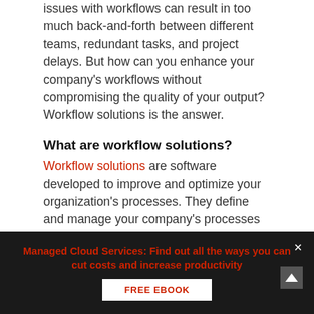issues with workflows can result in too much back-and-forth between different teams, redundant tasks, and project delays. But how can you enhance your company's workflows without compromising the quality of your output? Workflow solutions is the answer.
What are workflow solutions?
Workflow solutions are software developed to improve and optimize your organization's processes. They define and manage your company's processes and allow managers to keep track of your employees' tasks and progress. To illustrate, consider the following
Managed Cloud Services: Find out all the ways you can cut costs and increase productivity
FREE EBOOK